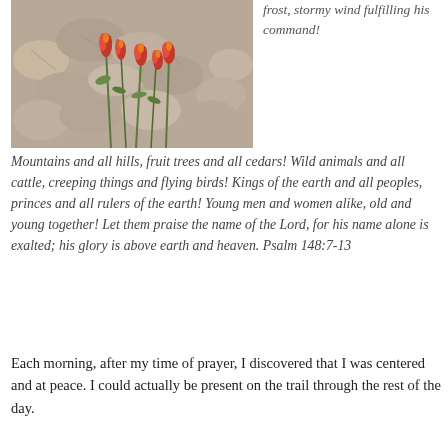[Figure (photo): Photo of red wildflowers (Indian paintbrush) growing among rocky terrain with small green plants]
frost, stormy wind fulfilling his command!
Mountains and all hills, fruit trees and all cedars!  Wild animals and all cattle, creeping things and flying birds!  Kings of the earth and all peoples, princes and all rulers of the earth!  Young men and women alike, old and young together!  Let them praise the name of the Lord, for his name alone is exalted; his glory is above earth and heaven. Psalm 148:7-13
Each morning, after my time of prayer, I discovered that I was centered and at peace.  I could actually be present on the trail through the rest of the day.